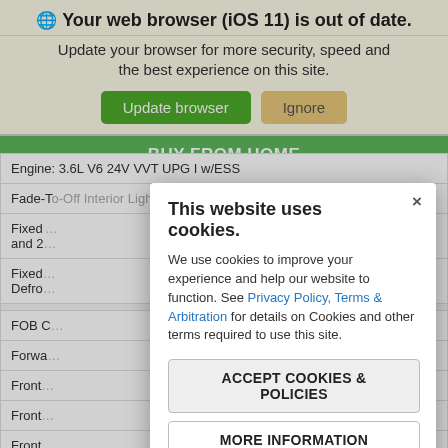Your web browser (iOS 11) is out of date.
Update your browser for more security, speed and the best experience on this site.
Update browser | Ignore
BUY FROM HOME
| Engine: 3.6L V6 24V VVT UPG I w/ESS |
| Fade-To-Off Interior Lighting |
| Fixed ... line and 2... |
| Fixed ... k and Defro... |
| FOB C... |
| Forwa... |
| Front... |
| Front... |
| Front... rest |
[Figure (screenshot): Cookie consent modal dialog with title 'This website uses cookies', body text about cookies and privacy policy link, Accept Cookies & Policies button, More Information button, and Privacy Policy link.]